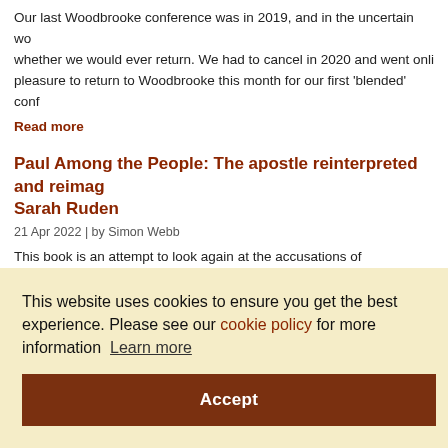Our last Woodbrooke conference was in 2019, and in the uncertain wo whether we would ever return. We had to cancel in 2020 and went onli pleasure to return to Woodbrooke this month for our first ‘blended’ conf
Read more
Paul Among the People: The apostle reinterpreted and reimag Sarah Ruden
21 Apr 2022 | by Simon Webb
This book is an attempt to look again at the accusations of homophobia general grumpiness that are routinely levelled against the apostle Paul. scholar, and her approach is to set Paul in the context of his time. This
This website uses cookies to ensure you get the best experience. Please see our cookie policy for more information Learn more
Accept
rience of
ginning, it Ukraine, a
Read more